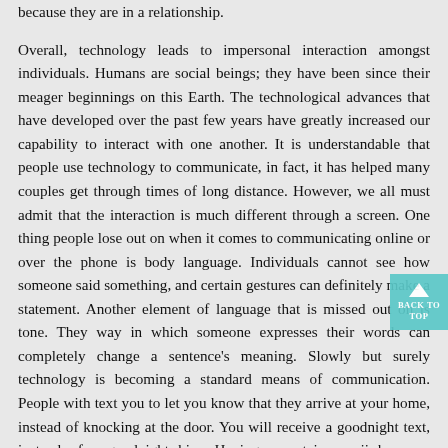because they are in a relationship.
Overall, technology leads to impersonal interaction amongst individuals. Humans are social beings; they have been since their meager beginnings on this Earth. The technological advances that have developed over the past few years have greatly increased our capability to interact with one another. It is understandable that people use technology to communicate, in fact, it has helped many couples get through times of long distance. However, we all must admit that the interaction is much different through a screen. One thing people lose out on when it comes to communicating online or over the phone is body language. Individuals cannot see how someone said something, and certain gestures can definitely make a statement. Another element of language that is missed out on is tone. They way in which someone expresses their words can completely change a sentence's meaning. Slowly but surely technology is becoming a standard means of communication. People with text you to let you know that they arrive at your home, instead of knocking at the door. You will receive a goodnight text, instead of a goodnight kiss. Having a certain emoji by your significant other's name is extremely important. It is disappointing to watch people interact